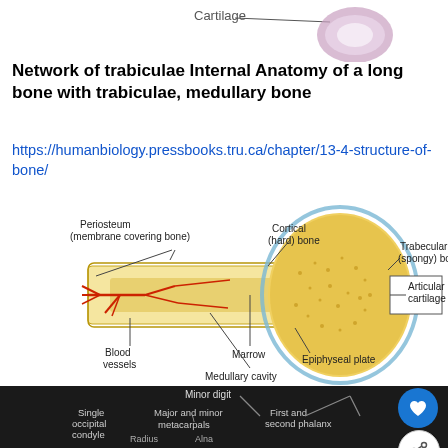[Figure (illustration): Top strip showing partial bone diagram with 'Cartilage' label]
Network of trabiculae Internal Anatomy of a long bone with trabiculae, medullary bone
https://humanbiology.pressbooks.tru.ca/chapter/13-4-structure-of-bone/
[Figure (engineering-diagram): Anatomical diagram of a long bone cross-section showing: Periosteum (membrane covering bone), Cortical (hard) bone, Trabecular (spongy) bone, Articular cartilage, Blood vessels, Marrow, Medullary cavity, Epiphyseal plate]
Skeleton of a bird https://veteriankey.com/basic-avian-anatomy-and-physiology/
[Figure (illustration): Bottom partial image of bird skeleton diagram showing: Minor digit, Major and minor metacarpals, First and second phalanx, Single occipital condyle, Radius, Alna labels on dark background]